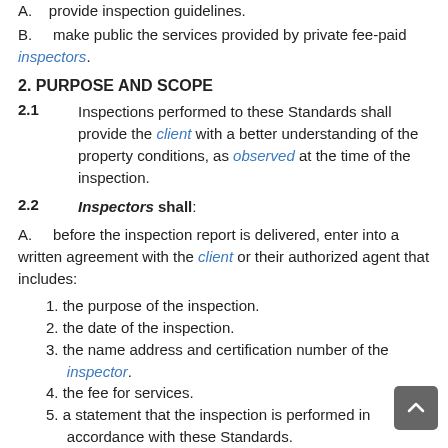A.   provide inspection guidelines.
B.   make public the services provided by private fee-paid inspectors.
2. PURPOSE AND SCOPE
2.1   Inspections performed to these Standards shall provide the client with a better understanding of the property conditions, as observed at the time of the inspection.
2.2   Inspectors shall:
A.   before the inspection report is delivered, enter into a written agreement with the client or their authorized agent that includes:
1. the purpose of the inspection.
2. the date of the inspection.
3. the name address and certification number of the inspector.
4. the fee for services.
5. a statement that the inspection is performed in accordance with these Standards.